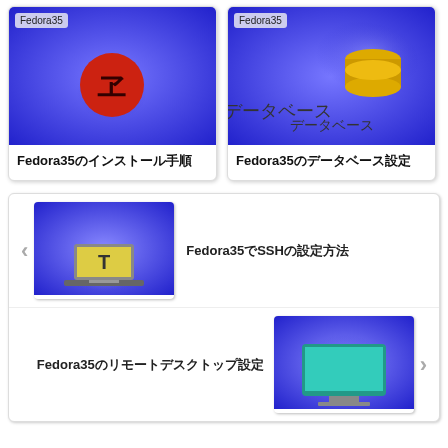[Figure (screenshot): Card showing Fedora35 badge and blue gradient thumbnail with red circle and Japanese character]
Fedora35のインストール手順
[Figure (screenshot): Card showing Fedora35 badge and blue gradient thumbnail with yellow database icon and Japanese text データベース]
Fedora35のデータベース設定
[Figure (screenshot): List item with left arrow, blue thumbnail with yellow T laptop icon, title Fedora35でSSHの設定方法]
Fedora35でSSHの設定方法
[Figure (screenshot): List item with blue thumbnail showing teal monitor icon, title Fedora35のリモートデスクトップ設定]
Fedora35のリモートデスクトップ設定